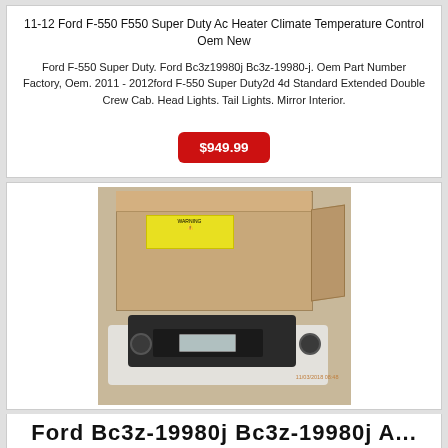11-12 Ford F-550 F550 Super Duty Ac Heater Climate Temperature Control Oem New
Ford F-550 Super Duty. Ford Bc3z19980j Bc3z-19980-j. Oem Part Number Factory, Oem. 2011 - 2012ford F-550 Super Duty2d 4d Standard Extended Double Crew Cab. Head Lights. Tail Lights. Mirror Interior.
$949.99
[Figure (photo): Product photo showing a tan/beige cardboard box with yellow warning label on top, and below it a black climate control unit placed on a white cloth, photographed on a tan surface. Timestamp 11/03/2018 reads in bottom right corner.]
Ford Bc3z-19980j Bc3z-19980j A...